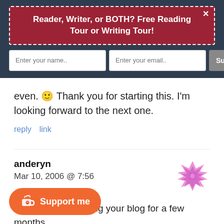Reader, Writer, or BOTH? Free Reading Tour or Writing Tour!
even. 🙂 Thank you for starting this. I'm looking forward to the next one.
reply   link
anderyn
Mar 10, 2006 @ 7:56
I have been following your blog for a few months ... scale to encouraging me to comment.
[Figure (logo): Pink decorative snowflake-like avatar icon]
[Figure (infographic): Orange Support me button with Ko-fi cup icon]